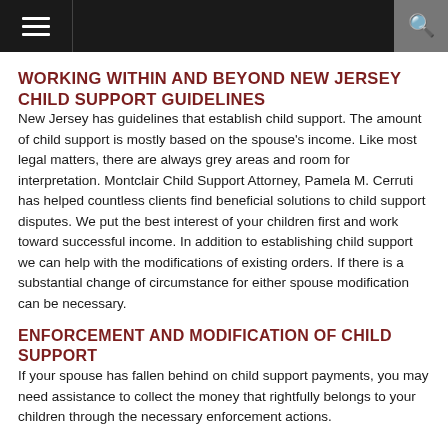Navigation bar with hamburger menu and search icon
WORKING WITHIN AND BEYOND NEW JERSEY CHILD SUPPORT GUIDELINES
New Jersey has guidelines that establish child support.  The amount of child support is mostly based on the spouse's income.  Like most legal matters, there are always grey areas and room for interpretation.  Montclair Child Support Attorney, Pamela M. Cerruti has helped countless clients find beneficial solutions to child support disputes.  We put the best interest of your children first and work toward successful income.  In addition to establishing child support we can help with the modifications of existing orders.  If there is a substantial change of circumstance for either spouse modification can be necessary.
ENFORCEMENT AND MODIFICATION OF CHILD SUPPORT
If your spouse has fallen behind on child support payments, you may need assistance to collect the money that rightfully belongs to your children through the necessary enforcement actions.